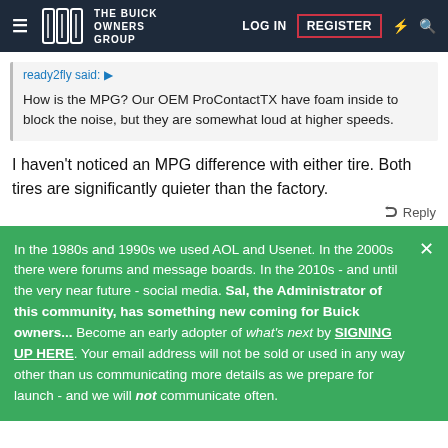The Buick Owners Group — LOG IN | REGISTER
ready2fly said:
How is the MPG? Our OEM ProContactTX have foam inside to block the noise, but they are somewhat loud at higher speeds.
I haven't noticed an MPG difference with either tire. Both tires are significantly quieter than the factory.
Reply
In the 1980s and 1990s we used AOL and Usenet. In the 2000s there were forums and message boards. In the 2010s - and until the very near future - social media. Sal, the Administrator of this community, has something new coming for Buick owners... Become an early adopter of what's next by SIGNING UP HERE. Your email address will not be sold or used in any way other than us communicating more details as we prepare for launch - and we will not communicate often.